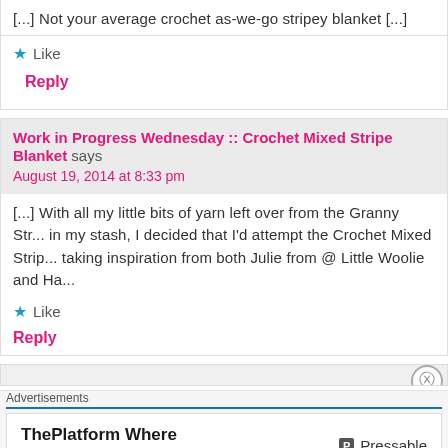[...] Not your average crochet as-we-go stripey blanket [...]
★ Like
Reply
Work in Progress Wednesday :: Crochet Mixed Stripe Blanket says
August 19, 2014 at 8:33 pm
[...] With all my little bits of yarn left over from the Granny Str... in my stash, I decided that I'd attempt the Crochet Mixed Strip... taking inspiration from both Julie from @ Little Woolie and Ha...
★ Like
Reply
Advertisements
ThePlatform Where WordPress Works Best
[Figure (logo): Pressable logo with icon]